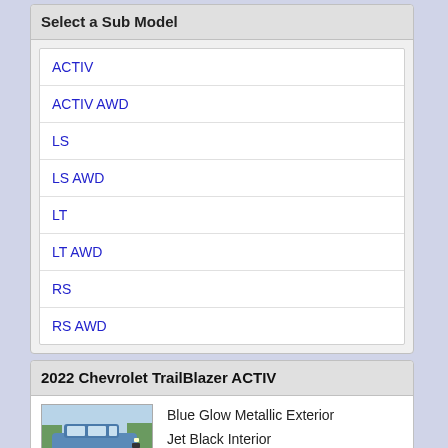Select a Sub Model
ACTIV
ACTIV AWD
LS
LS AWD
LT
LT AWD
RS
RS AWD
2022 Chevrolet TrailBlazer ACTIV
[Figure (photo): Photo of a 2022 Chevrolet TrailBlazer ACTIV in Blue Glow Metallic exterior]
Blue Glow Metallic Exterior
Jet Black Interior